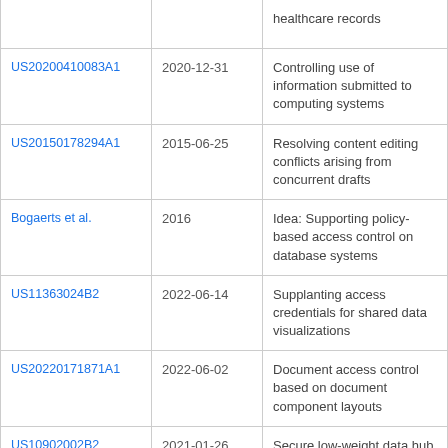|  |  | healthcare records |
| US20200410083A1 | 2020-12-31 | Controlling use of information submitted to computing systems |
| US20150178294A1 | 2015-06-25 | Resolving content editing conflicts arising from concurrent drafts |
| Bogaerts et al. | 2016 | Idea: Supporting policy-based access control on database systems |
| US11363024B2 | 2022-06-14 | Supplanting access credentials for shared data visualizations |
| US20220171871A1 | 2022-06-02 | Document access control based on document component layouts |
| US10902002B2 | 2021-01-26 | Secure low-weight data hub |
| Tenenholtz et al. | 2020 | Automated De- |